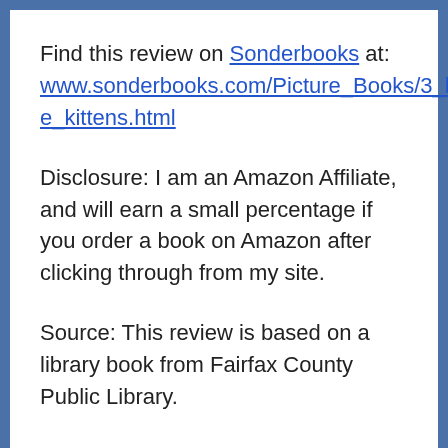Find this review on Sonderbooks at: www.sonderbooks.com/Picture_Books/3_little_kittens.html
Disclosure: I am an Amazon Affiliate, and will earn a small percentage if you order a book on Amazon after clicking through from my site.
Source: This review is based on a library book from Fairfax County Public Library.
Disclaimer: I am a professional librarian, but the views expressed are solely my own, and in